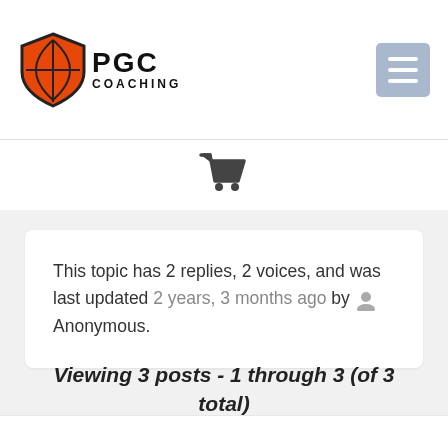[Figure (logo): PGC Coaching logo with basketball shield icon and text PGC COACHING]
[Figure (other): Shopping cart icon]
This topic has 2 replies, 2 voices, and was last updated 2 years, 3 months ago by Anonymous.
Viewing 3 posts - 1 through 3 (of 3 total)